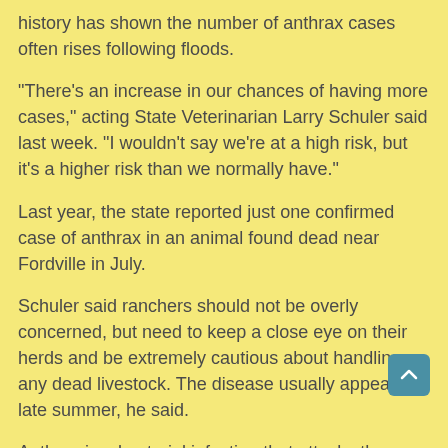history has shown the number of anthrax cases often rises following floods.
"There's an increase in our chances of having more cases," acting State Veterinarian Larry Schuler said last week. "I wouldn't say we're at a high risk, but it's a higher risk than we normally have."
Last year, the state reported just one confirmed case of anthrax in an animal found dead near Fordville in July.
Schuler said ranchers should not be overly concerned, but need to keep a close eye on their herds and be extremely cautious about handling any dead livestock. The disease usually appears in late summer, he said.
Anthrax is a bacterial infection that attacks the internal organs of animals. It produces a toxin that kills within a few days of being ingested. The disease can be transmitted to humans through the improper handling of infected carcasses.
"As long as the carcass remains intact and is burned or buried